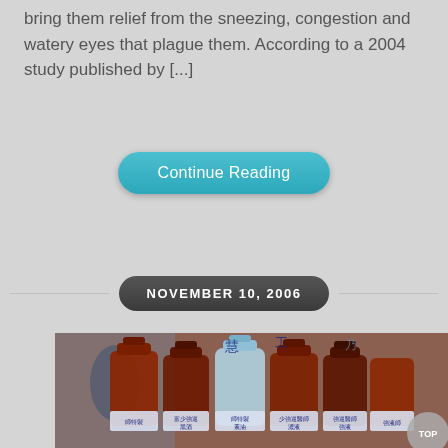bring them relief from the sneezing, congestion and watery eyes that plague them. According to a 2004 study published by [...]
Continue Reading
NOVEMBER 10, 2006
[Figure (photo): Photograph of multiple glass bottles with Chinese labels containing colored liquids, displayed in a market setting.]